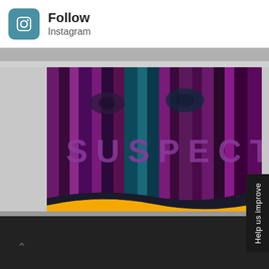[Figure (logo): Instagram camera icon logo in blue/teal square with rounded corners]
Follow
Instagram
[Figure (illustration): SBS On Demand advertisement for 'Suspect' - All-Star Crime Drama. Shows vertical purple/magenta bars with eyes visible at top and word SUSPECT overlaid. Bottom yellow/gold wave section with text 'All-Star Crime Drama' and SBS On Demand logo.]
Help us improve